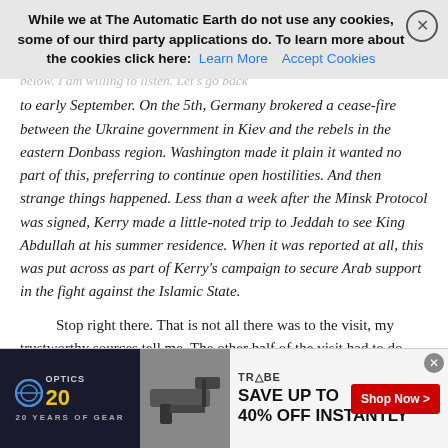This is a lot of dots to connect. As I see it, the running theme in all this are two. There is constructive activity and there is the destructive. Readers may think this over-simplifies, but for this the ever-lively comment box below. I am willing to listen. Let's go back to early September. On the 5th, Germany brokered a cease-fire between the Ukraine government in Kiev and the rebels in the eastern Donbass region. Washington made it plain it wanted no part of this, preferring to continue open hostilities. And then strange things happened. Less than a week after the Minsk Protocol was signed, Kerry made a little-noted trip to Jeddah to see King Abdullah at his summer residence. When it was reported at all, this was put across as part of Kerry's campaign to secure Arab support in the fight against the Islamic State.
Stop right there. That is not all there was to the visit, my trustworthy sources tell me. The other half of the visit had to do with Washington's unabated desire to ruin the Russian economy. To do this, Kerry told the Saudis 1) to raise production and 2) to cut its crude
While we at The Automatic Earth do not use any cookies, some of our third party applications do. To learn more about the cookies click here: Learn More   Accept Cookies
[Figure (screenshot): Advertisement banner: Optics20 logo on left with dark background, firearm image in center, Tribe logo with 'SAVE UP TO 40% OFF INSTANTLY' text and red 'Shop Now >' button on right]